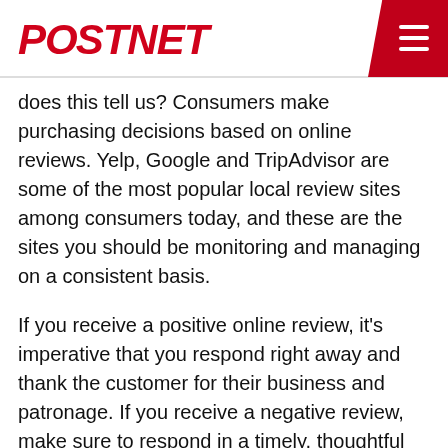PostNet
does this tell us? Consumers make purchasing decisions based on online reviews. Yelp, Google and TripAdvisor are some of the most popular local review sites among consumers today, and these are the sites you should be monitoring and managing on a consistent basis.
If you receive a positive online review, it’s imperative that you respond right away and thank the customer for their business and patronage. If you receive a negative review, make sure to respond in a timely, thoughtful manner and use it as an opportunity to provide feedback and resolution to the customer. Here’s a tip: On Yelp, in your settings, you can set up your account to receive email notifications when a